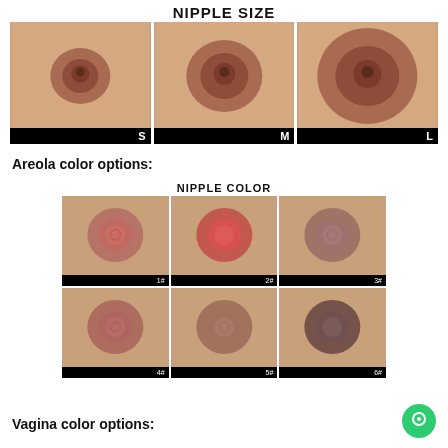NIPPLE SIZE
[Figure (photo): Three photos showing nipple sizes labeled S, M, and L with black label bars at the bottom of each image]
Areola color options:
[Figure (photo): Photo grid titled NIPPLE COLOR showing 6 areola color variants labeled 1# through 6# in two rows of three]
Vagina color options: